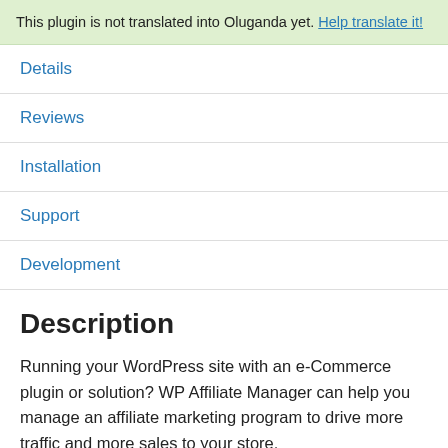This plugin is not translated into Oluganda yet. Help translate it!
Details
Reviews
Installation
Support
Development
Description
Running your WordPress site with an e-Commerce plugin or solution? WP Affiliate Manager can help you manage an affiliate marketing program to drive more traffic and more sales to your store.
Affiliate Marketing is the fastest-growing advertising...